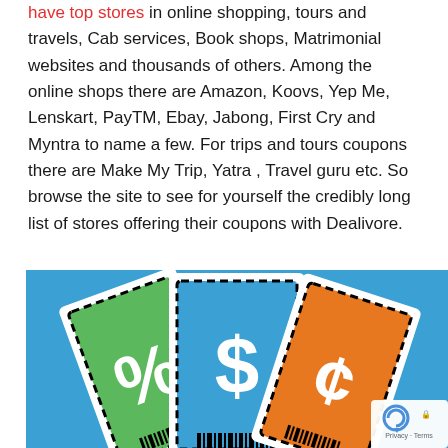have top stores in online shopping, tours and travels, Cab services, Book shops, Matrimonial websites and thousands of others. Among the online shops there are Amazon, Koovs, Yep Me, Lenskart, PayTM, Ebay, Jabong, First Cry and Myntra to name a few. For trips and tours coupons there are Make My Trip, Yatra , Travel guru etc. So browse the site to see for yourself the credibly long list of stores offering their coupons with Dealivore.
[Figure (illustration): Illustration of three coupon cards on a blue background: a green card with a percent sign, a white/blue card with a dollar sign and barcode in the center, and an orange card with a cent/euro sign. Each card has a dashed border.]